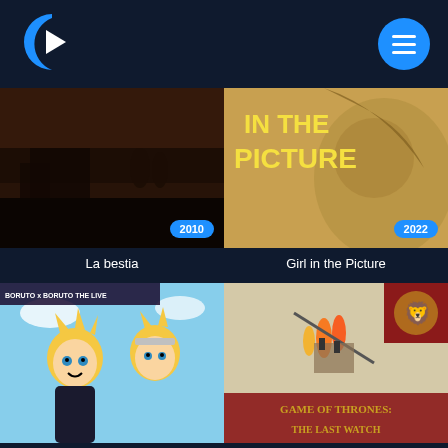[Figure (logo): Streaming app logo - blue C shape with white play triangle]
[Figure (other): Hamburger menu button - blue circle with three white lines]
[Figure (photo): Movie thumbnail for La bestia (2010) - dark desert scene with figures]
La bestia
[Figure (photo): Movie thumbnail for Girl in the Picture (2022) - yellow text on blurred face background]
Girl in the Picture
[Figure (photo): Anime thumbnail - Boruto: Naruto Next Generations The Live, showing anime characters Boruto and Naruto]
[Figure (photo): Documentary thumbnail - Game of Thrones: The Last Watch - illustrated poster style]